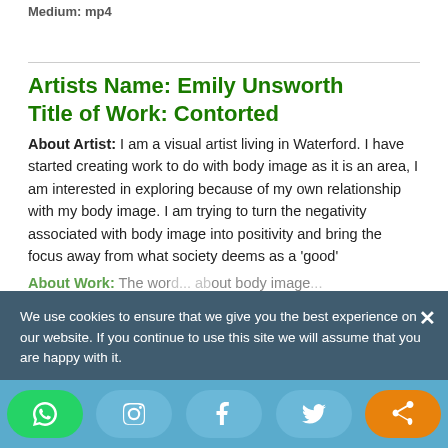Medium: mp4
Artists Name: Emily Unsworth
Title of Work: Contorted
About Artist: I am a visual artist living in Waterford. I have started creating work to do with body image as it is an area, I am interested in exploring because of my own relationship with my body image. I am trying to turn the negativity associated with body image into positivity and bring the focus away from what society deems as a 'good'
We use cookies to ensure that we give you the best experience on our website. If you continue to use this site we will assume that you are happy with it.
About Work: The wor... bout body image...